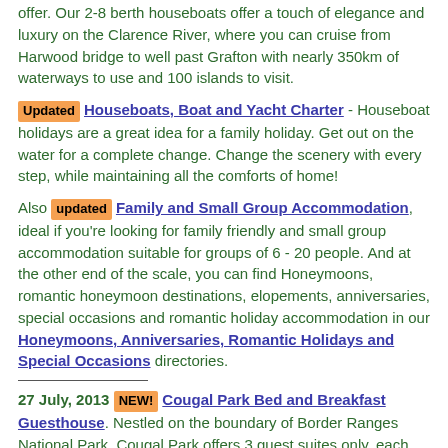offer. Our 2-8 berth houseboats offer a touch of elegance and luxury on the Clarence River, where you can cruise from Harwood bridge to well past Grafton with nearly 350km of waterways to use and 100 islands to visit.
[Updated] Houseboats, Boat and Yacht Charter - Houseboat holidays are a great idea for a family holiday. Get out on the water for a complete change. Change the scenery with every step, while maintaining all the comforts of home!
Also [updated] Family and Small Group Accommodation, ideal if you're looking for family friendly and small group accommodation suitable for groups of 6 - 20 people. And at the other end of the scale, you can find Honeymoons, romantic honeymoon destinations, elopements, anniversaries, special occasions and romantic holiday accommodation in our Honeymoons, Anniversaries, Romantic Holidays and Special Occasions directories.
27 July, 2013 [NEW!] Cougal Park Bed and Breakfast Guesthouse. Nestled on the boundary of Border Ranges National Park, Cougal Park offers 3 guest suites only, each with north facing verandah and scenic views. Suites have a large ensuite bathroom, and all the home comforts. Relax and enjoy the serenity of nature and the company of your hosts and fellow guests over a traditional home made breakfast and other meals (by arrangement).